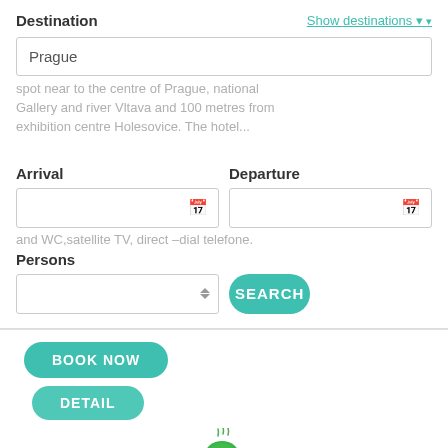Destination
Show destinations
Prague
spot near to the centre of Prague, national Gallery and river Vltava and 100 metres from exhibition centre Holesovice. The hotel...
Arrival
Departure
and WC,satellite TV, direct –dial telefone.
Persons
SEARCH
BOOK NOW
DETAIL
[Figure (illustration): Green coffee cup icon with steam]
.....................
[Figure (photo): Bottom portion showing sunflower and curtains/interior photo]